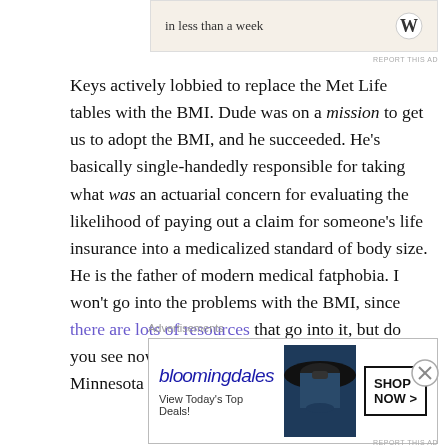[Figure (infographic): Top advertisement banner with text 'in less than a week' and WordPress logo]
Keys actively lobbied to replace the Met Life tables with the BMI. Dude was on a mission to get us to adopt the BMI, and he succeeded. He's basically single-handedly responsible for taking what was an actuarial concern for evaluating the likelihood of paying out a claim for someone's life insurance into a medicalized standard of body size. He is the father of modern medical fatphobia. I won't go into the problems with the BMI, since there are lots of resources that go into it, but do you see now? Do you see why discussing the Minnesota Starvation
[Figure (infographic): Bloomingdale's advertisement banner showing 'View Today's Top Deals!' with SHOP NOW button and woman in hat]